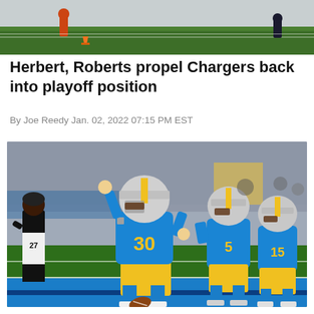[Figure (photo): Top portion of a football game photo showing players on a green field with an orange cone visible]
Herbert, Roberts propel Chargers back into playoff position
By Joe Reedy Jan. 02, 2022 07:15 PM EST
[Figure (photo): Los Angeles Chargers players in blue and yellow uniforms celebrating on the field. Player #30 is pumping his fist in the foreground, with teammates behind him. A referee #27 is visible on the left side. A football is on the ground.]